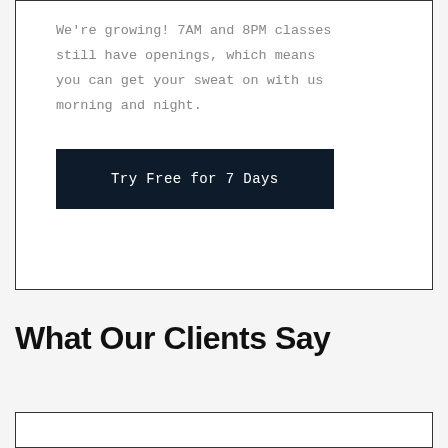We're growing! 7AM and 8PM classes still have openings, which means you can get your sweat on with us morning and night.
Try Free for 7 Days
What Our Clients Say